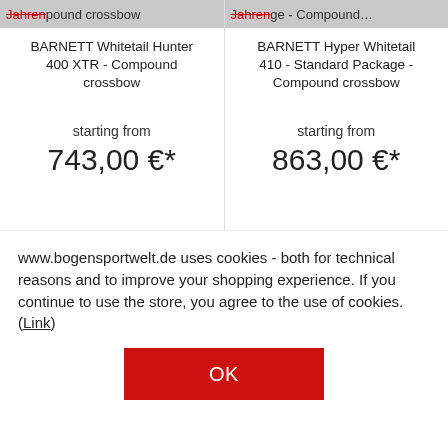BARNETT Whitetail Hunter 400 XTR - Compound crossbow
starting from 743,00 €*
BARNETT Hyper Whitetail 410 - Standard Package - Compound crossbow
starting from 863,00 €*
www.bogensportwelt.de uses cookies - both for technical reasons and to improve your shopping experience. If you continue to use the store, you agree to the use of cookies. (Link)
OK